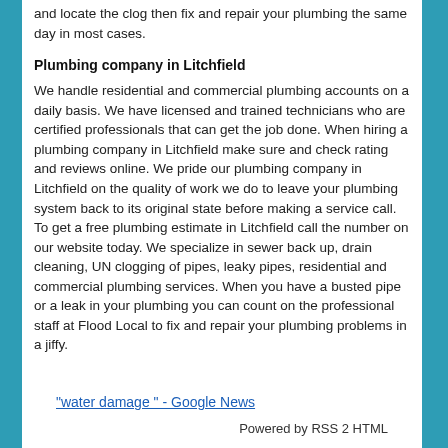and locate the clog then fix and repair your plumbing the same day in most cases.
Plumbing company in Litchfield
We handle residential and commercial plumbing accounts on a daily basis. We have licensed and trained technicians who are certified professionals that can get the job done. When hiring a plumbing company in Litchfield make sure and check rating and reviews online. We pride our plumbing company in Litchfield on the quality of work we do to leave your plumbing system back to its original state before making a service call. To get a free plumbing estimate in Litchfield call the number on our website today. We specialize in sewer back up, drain cleaning, UN clogging of pipes, leaky pipes, residential and commercial plumbing services. When you have a busted pipe or a leak in your plumbing you can count on the professional staff at Flood Local to fix and repair your plumbing problems in a jiffy.
"water damage " - Google News
Powered by RSS 2 HTML